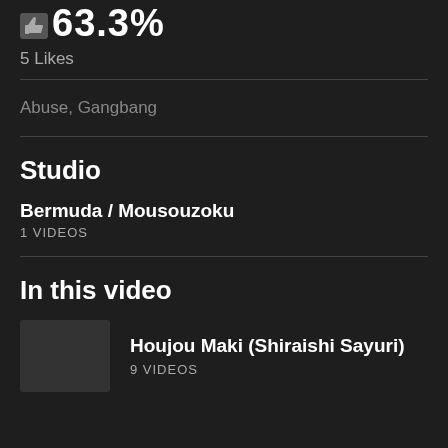63.3%
5 Likes
Abuse, Gangbang
Studio
Bermuda / Mousouzoku
1 VIDEOS
In this video
Houjou Maki (Shiraishi Sayuri)
9 VIDEOS